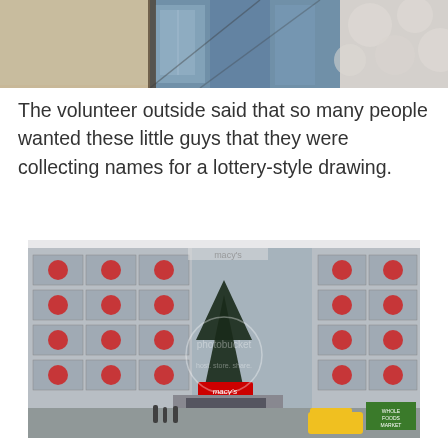[Figure (photo): Partial view of an architectural detail or glass ceiling structure, cropped at top of page]
The volunteer outside said that so many people wanted these little guys that they were collecting names for a lottery-style drawing.
[Figure (photo): Exterior photo of a Macy's department store building decorated with red holiday wreaths/bows on windows, with a large Christmas tree visible, and a photobucket watermark overlay]